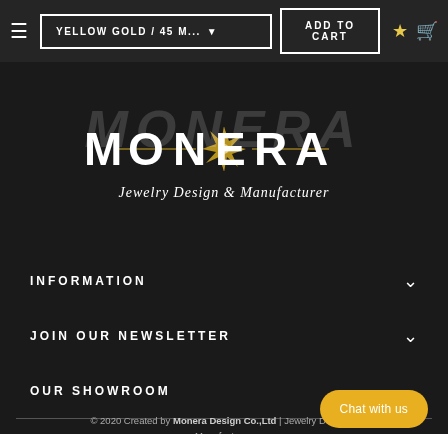YELLOW GOLD / 45 M... | ADD TO CART
[Figure (logo): Monera Jewelry Design & Manufacturer logo with compass star in gold on dark background]
INFORMATION
JOIN OUR NEWSLETTER
OUR SHOWROOM
© 2020 Created by Monera Design Co.,Ltd | Jewelry Design & Manufacturer.